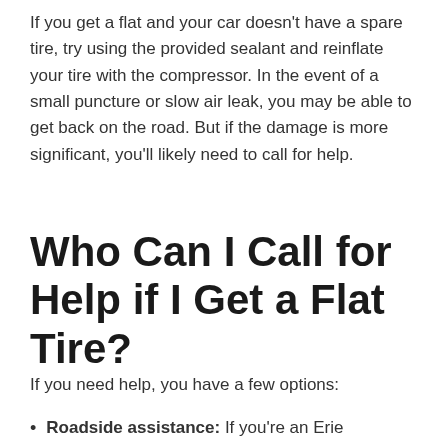If you get a flat and your car doesn't have a spare tire, try using the provided sealant and reinflate your tire with the compressor. In the event of a small puncture or slow air leak, you may be able to get back on the road. But if the damage is more significant, you'll likely need to call for help.
Who Can I Call for Help if I Get a Flat Tire?
If you need help, you have a few options:
Roadside assistance: If you're an Erie...